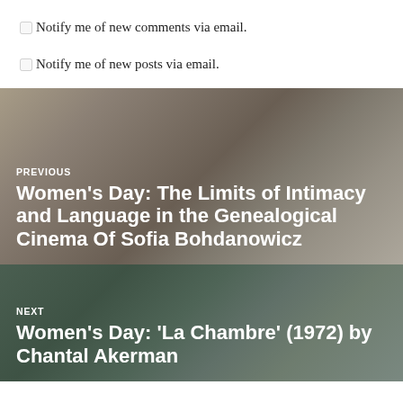Notify me of new comments via email.
Notify me of new posts via email.
[Figure (photo): Previous post navigation block with background photo of a woman lying in bed reading, overlaid with text: PREVIOUS — Women's Day: The Limits of Intimacy and Language in the Genealogical Cinema Of Sofia Bohdanowicz]
[Figure (photo): Next post navigation block with background photo of a person in a room, overlaid with text: NEXT — Women's Day: 'La Chambre' (1972) by Chantal Akerman]